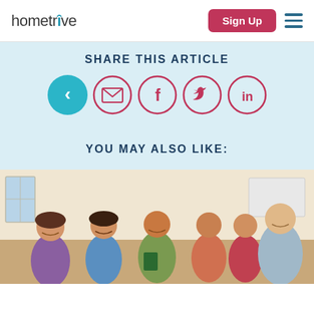homethrive | Sign Up
SHARE THIS ARTICLE
[Figure (infographic): Social sharing icons: back arrow (teal filled circle), email, Facebook, Twitter, LinkedIn (crimson outlined circles)]
YOU MAY ALSO LIKE:
[Figure (photo): Children and a teacher laughing together in a classroom setting]